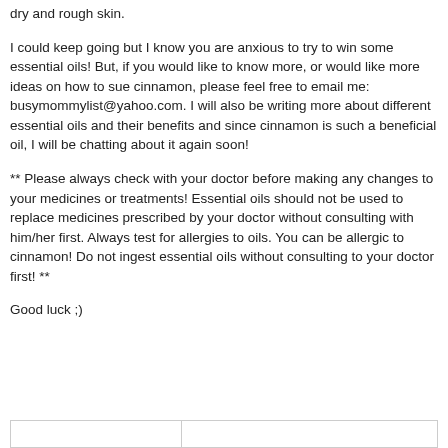dry and rough skin.
I could keep going but I know you are anxious to try to win some essential oils! But, if you would like to know more, or would like more ideas on how to sue cinnamon, please feel free to email me: busymommylist@yahoo.com. I will also be writing more about different essential oils and their benefits and since cinnamon is such a beneficial oil, I will be chatting about it again soon!
** Please always check with your doctor before making any changes to your medicines or treatments! Essential oils should not be used to replace medicines prescribed by your doctor without consulting with him/her first. Always test for allergies to oils. You can be allergic to cinnamon! Do not ingest essential oils without consulting to your doctor first! **
Good luck ;)